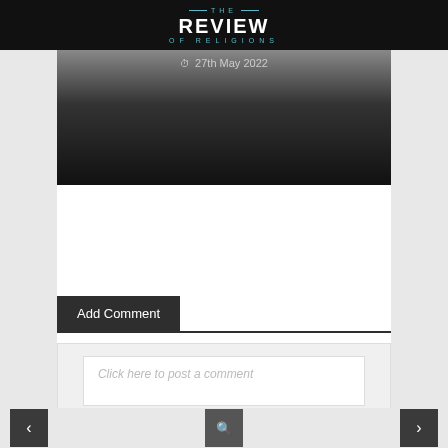THE REVIEW OF RELIGIONS
[Figure (screenshot): Dark gradient image area with date overlay showing clock icon and '27th May 2022']
Add Comment
Click here to post a comment
< [search] >